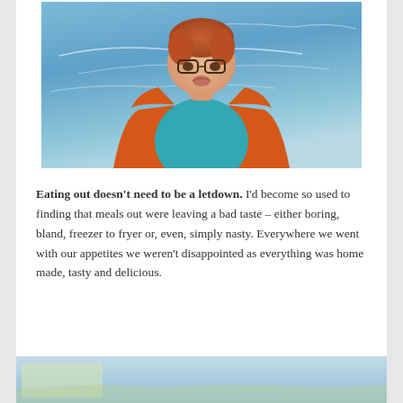[Figure (photo): A red-haired boy wearing glasses, an orange jacket and teal shirt, photographed from below against a blue sky with wispy clouds, making a face with his lips pursed.]
Eating out doesn't need to be a letdown. I'd become so used to finding that meals out were leaving a bad taste – either boring, bland, freezer to fryer or, even, simply nasty. Everywhere we went with our appetites we weren't disappointed as everything was home made, tasty and delicious.
[Figure (photo): Partial view of another image, showing a blue sky background, cut off at the bottom of the page.]